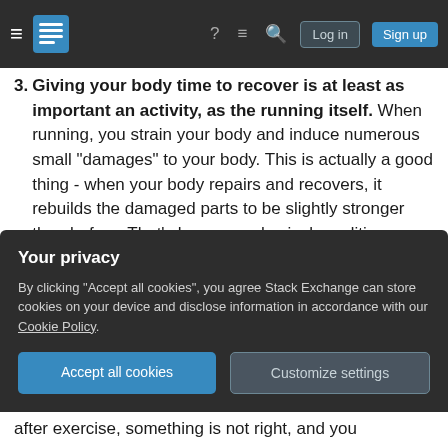Stack Exchange navigation bar with Log in and Sign up buttons
3. Giving your body time to recover is at least as important an activity, as the running itself. When running, you strain your body and induce numerous small "damages" to your body. This is actually a good thing - when your body repairs and recovers, it rebuilds the damaged parts to be slightly stronger than before. That's how your physical condition improves. But don't overdo it!!! "No pain, no gain" is not the right mantra when you start up on running, and it certainly doesn't mean "More pain more gain". This is how you overdo it...
Your privacy
By clicking "Accept all cookies", you agree Stack Exchange can store cookies on your device and disclose information in accordance with our Cookie Policy.
after exercise, something is not right, and you